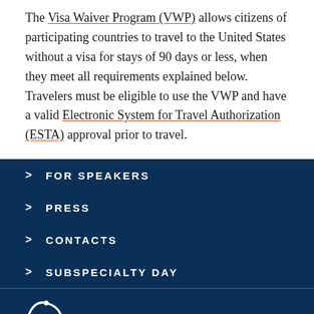The Visa Waiver Program (VWP) allows citizens of participating countries to travel to the United States without a visa for stays of 90 days or less, when they meet all requirements explained below. Travelers must be eligible to use the VWP and have a valid Electronic System for Travel Authorization (ESTA) approval prior to travel.
FOR SPEAKERS
PRESS
CONTACTS
SUBSPECIALTY DAY